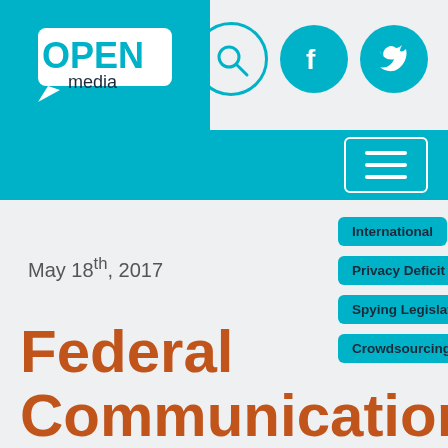[Figure (logo): OpenMedia logo on teal background]
[Figure (other): Search, Facebook, and Twitter icons in header]
[Figure (other): Hamburger menu button on teal navigation bar]
May 18th, 2017
International | Privacy | Data Breaches | Privacy Deficit | Spy Agencies | Spying Legislation | stingray | Crowdsourcing | Our Vision
Federal Communications Commission votes to